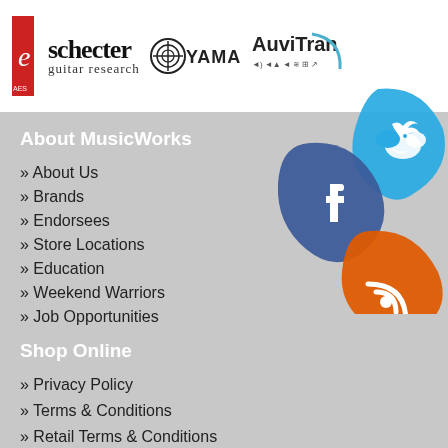[Figure (logo): Header with logos: red AES logo, Schecter Guitar Research logo, Yamaha logo, AuviTran logo]
[Figure (illustration): Three guitar pick shaped social media icons: blue Twitter bird pick, dark blue Facebook 'f' pick, orange RSS feed pick]
About MusicWorks
» About Us
» Brands
» Endorsees
» Store Locations
» Education
» Weekend Warriors
» Job Opportunities
Shop Online
» Privacy Policy
» Terms & Conditions
» Retail Terms & Conditions